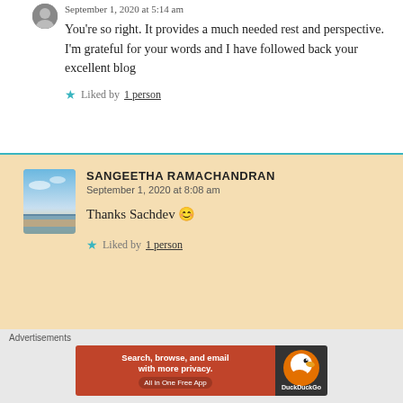September 1, 2020 at 5:14 am
You’re so right. It provides a much needed rest and perspective. I’m grateful for your words and I have followed back your excellent blog
★ Liked by 1 person
SANGEETHA RAMACHANDRAN
September 1, 2020 at 8:08 am
Thanks Sachdev 😊
★ Liked by 1 person
Advertisements
[Figure (screenshot): DuckDuckGo advertisement banner: 'Search, browse, and email with more privacy. All in One Free App' on orange background with DuckDuckGo logo on dark background]